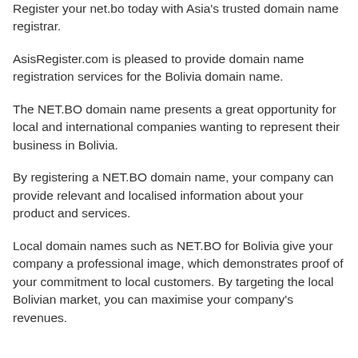Register your net.bo today with Asia's trusted domain name registrar.
AsisRegister.com is pleased to provide domain name registration services for the Bolivia domain name.
The NET.BO domain name presents a great opportunity for local and international companies wanting to represent their business in Bolivia.
By registering a NET.BO domain name, your company can provide relevant and localised information about your product and services.
Local domain names such as NET.BO for Bolivia give your company a professional image, which demonstrates proof of your commitment to local customers. By targeting the local Bolivian market, you can maximise your company's revenues.